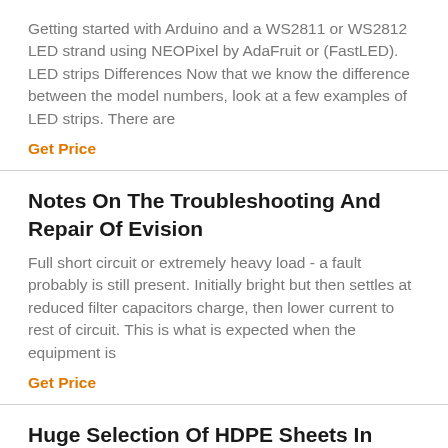Getting started with Arduino and a WS2811 or WS2812 LED strand using NEOPixel by AdaFruit or (FastLED). LED strips Differences Now that we know the difference between the model numbers, look at a few examples of LED strips. There are
Get Price
Notes On The Troubleshooting And Repair Of Evision
Full short circuit or extremely heavy load - a fault probably is still present. Initially bright but then settles at reduced filter capacitors charge, then lower current to rest of circuit. This is what is expected when the equipment is
Get Price
Huge Selection Of HDPE Sheets In Stock Cut-to-Size